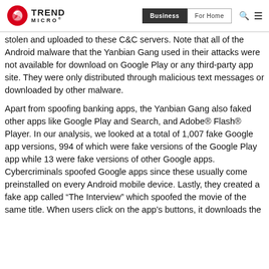Trend Micro | Business | For Home
stolen and uploaded to these C&C servers. Note that all of the Android malware that the Yanbian Gang used in their attacks were not available for download on Google Play or any third-party app site. They were only distributed through malicious text messages or downloaded by other malware.
Apart from spoofing banking apps, the Yanbian Gang also faked other apps like Google Play and Search, and Adobe® Flash® Player. In our analysis, we looked at a total of 1,007 fake Google app versions, 994 of which were fake versions of the Google Play app while 13 were fake versions of other Google apps. Cybercriminals spoofed Google apps since these usually come preinstalled on every Android mobile device. Lastly, they created a fake app called “The Interview” which spoofed the movie of the same title. When users click on the app’s buttons, it downloads the